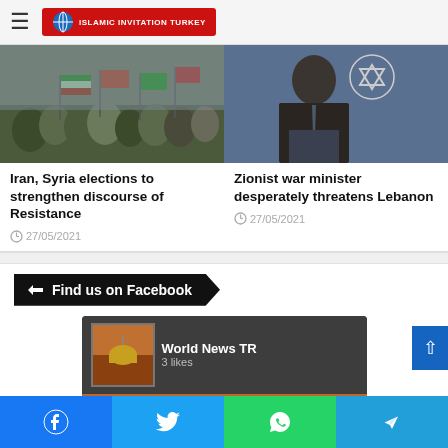Islamic Invitation Turkey — header navigation
[Figure (photo): Protest crowd with Palestinian flags]
Iran, Syria elections to strengthen discourse of Resistance
27/05/2021
[Figure (photo): Man in suit speaking at podium with Star of David emblem]
Zionist war minister desperately threatens Lebanon
27/05/2021
Find us on Facebook
[Figure (screenshot): Facebook page widget for World News TR showing 3 likes and image of Dome of the Rock at sunset]
Social share buttons: Facebook, Twitter, WhatsApp, Telegram